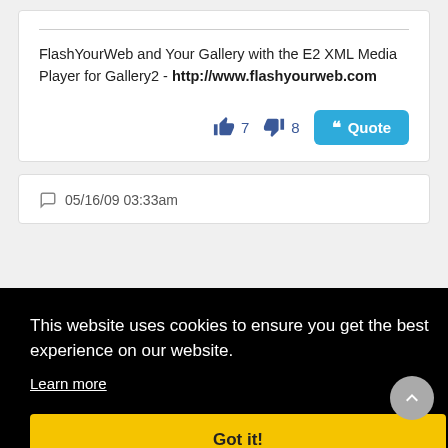FlashYourWeb and Your Gallery with the E2 XML Media Player for Gallery2 - http://www.flashyourweb.com
👍 7   👎 8   Quote
💬 05/16/09 03:33am
This website uses cookies to ensure you get the best experience on our website. Learn more
Got it!